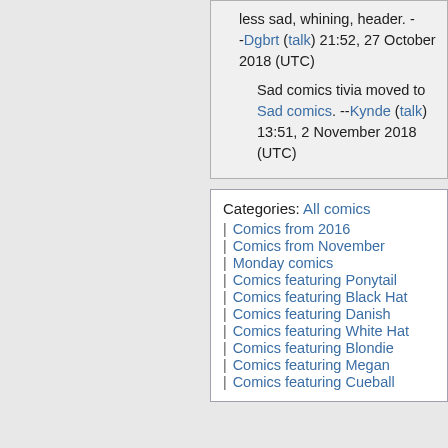less sad, whining, header. --Dgbrt (talk) 21:52, 27 October 2018 (UTC)
Sad comics tivia moved to Sad comics. --Kynde (talk) 13:51, 2 November 2018 (UTC)
Categories: All comics | Comics from 2016 | Comics from November | Monday comics | Comics featuring Ponytail | Comics featuring Black Hat | Comics featuring Danish | Comics featuring White Hat | Comics featuring Blondie | Comics featuring Megan | Comics featuring Cueball